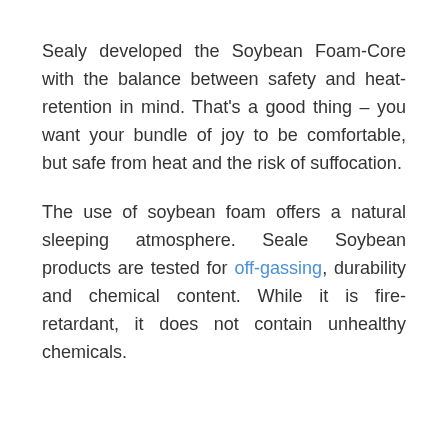Sealy developed the Soybean Foam-Core with the balance between safety and heat-retention in mind. That's a good thing – you want your bundle of joy to be comfortable, but safe from heat and the risk of suffocation.
The use of soybean foam offers a natural sleeping atmosphere. Seale Soybean products are tested for off-gassing, durability and chemical content. While it is fire-retardant, it does not contain unhealthy chemicals.